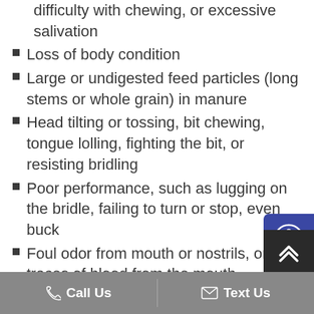difficulty with chewing, or excessive salivation
Loss of body condition
Large or undigested feed particles (long stems or whole grain) in manure
Head tilting or tossing, bit chewing, tongue lolling, fighting the bit, or resisting bridling
Poor performance, such as lugging on the bridle, failing to turn or stop, even buck
Foul odor from mouth or nostrils, or traces of blood from the mouth
Nasal discharge or swelling of the face, jaw, or mouth tissues
Call Us   Text Us